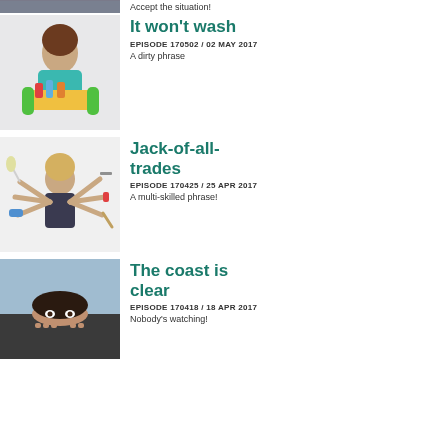[Figure (photo): Partial top image cropped at top of page]
Accept the situation!
[Figure (photo): Woman holding a basket of cleaning supplies with green rubber gloves]
It won't wash
EPISODE 170502 / 02 MAY 2017
A dirty phrase
[Figure (photo): Woman with multiple arms holding various household tools like a feather duster, iron, knife, etc.]
Jack-of-all-trades
EPISODE 170425 / 25 APR 2017
A multi-skilled phrase!
[Figure (photo): Woman peeking over the edge of a table, only eyes and top of head visible]
The coast is clear
EPISODE 170418 / 18 APR 2017
Nobody's watching!